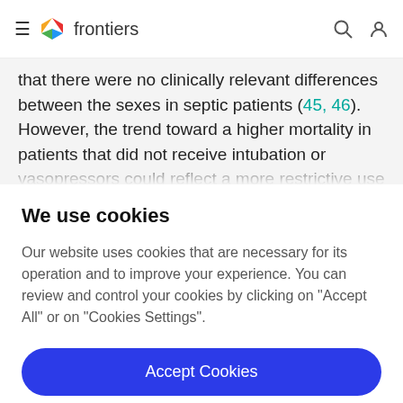frontiers
that there were no clinically relevant differences between the sexes in septic patients (45, 46). However, the trend toward a higher mortality in patients that did not receive intubation or vasopressors could reflect a more restrictive use of this therapy in very old patients. This
We use cookies
Our website uses cookies that are necessary for its operation and to improve your experience. You can review and control your cookies by clicking on "Accept All" or on "Cookies Settings".
Accept Cookies
Cookies Settings